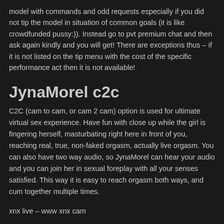model with commands and odd requests especially if you did not tip the model in situation of common goals (it is like crowdfunded pussy:)). Instead go to pvt premium chat and then ask again kindly and you will get! There are exceptions thus - if it is not listed on the tip menu with the cost of the specific performance act then it is not available!
JynaMorel c2c
C2C (cam to cam, or cam 2 cam) option is used for ultimate virtual sex experience. Have fun with close up while the girl is fingering herself, masturbating right here in front of you, reaching real, true, non-faked orgasm, actually live orgasm. You can also have two way audio, so JynaMorel can hear your audio and you can join her in sexual foreplay with all your senses satisfied. This way it is easy to reach orgasm both ways, and cum together multiple times.
xnx live – www xnx cam